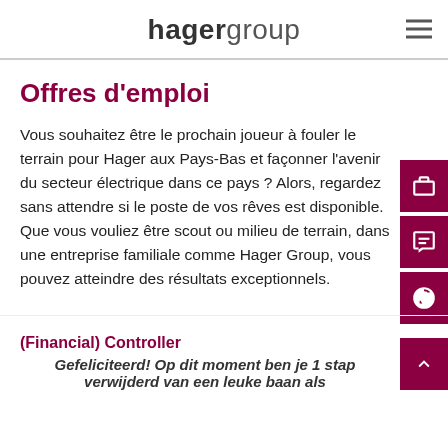hagergroup
Offres d'emploi
Vous souhaitez être le prochain joueur à fouler le terrain pour Hager aux Pays-Bas et façonner l'avenir du secteur électrique dans ce pays ? Alors, regardez sans attendre si le poste de vos rêves est disponible. Que vous vouliez être scout ou milieu de terrain, dans une entreprise familiale comme Hager Group, vous pouvez atteindre des résultats exceptionnels.
(Financial) Controller
Gefeliciteerd! Op dit moment ben je 1 stap verwijderd van een leuke baan als